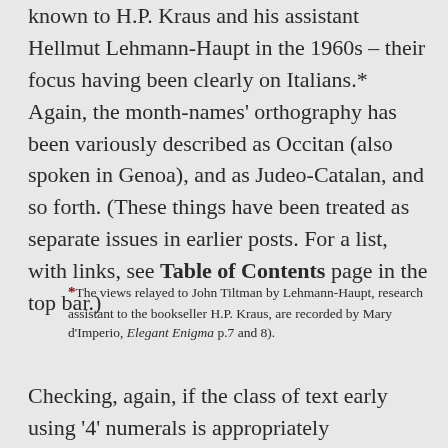known to H.P. Kraus and his assistant Hellmut Lehmann-Haupt in the 1960s – their focus having been clearly on Italians.* Again, the month-names' orthography has been variously described as Occitan (also spoken in Genoa), and as Judeo-Catalan, and so forth. (These things have been treated as separate issues in earlier posts. For a list, with links, see Table of Contents page in the top bar.)
*The views relayed to John Tiltman by Lehmann-Haupt, research assistant to the bookseller H.P. Kraus, are recorded by Mary d'Imperio, Elegant Enigma p.7 and 8).
Checking, again, if the class of text early using '4' numerals is appropriately described...